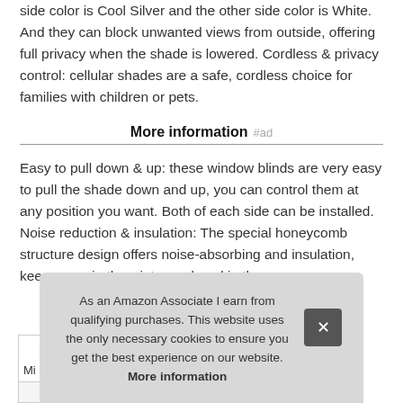side color is Cool Silver and the other side color is White. And they can block unwanted views from outside, offering full privacy when the shade is lowered. Cordless & privacy control: cellular shades are a safe, cordless choice for families with children or pets.
More information #ad
Easy to pull down & up: these window blinds are very easy to pull the shade down and up, you can control them at any position you want. Both of each side can be installed. Noise reduction & insulation: The special honeycomb structure design offers noise-absorbing and insulation, keep warm in the winter and cool in the summer.
As an Amazon Associate I earn from qualifying purchases. This website uses the only necessary cookies to ensure you get the best experience on our website. More information